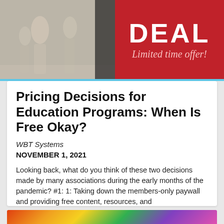[Figure (photo): Top banner advertisement with people walking on the left side (blurred photo) and red background on the right showing 'DEAL' in large white letters and 'Limited time offer!' in pink italic text]
Pricing Decisions for Education Programs: When Is Free Okay?
WBT Systems
NOVEMBER 1, 2021
Looking back, what do you think of these two decisions made by many associations during the early months of the pandemic? #1: 1: Taking down the members-only paywall and providing free content, resources, and
[Figure (photo): Bottom colorful image showing a person with dollar sign graphics in bright colors (red, orange, yellow, green, purple)]